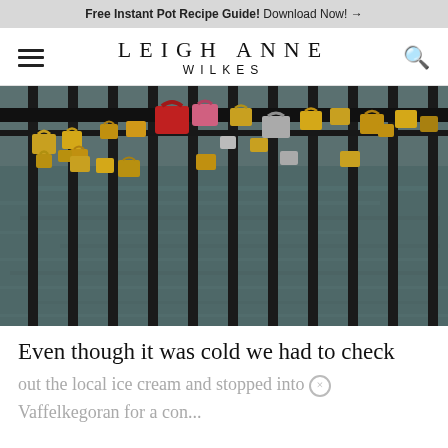Free Instant Pot Recipe Guide! Download Now! →
LEIGH ANNE WILKES
[Figure (photo): Love locks attached to black metal bridge railing over dark rippling water. Many padlocks of various colors including gold/brass, red, silver, and pink attached to vertical iron bars.]
Even though it was cold we had to check
out the local ice cream and stopped into ×
Vaffelkegoran for a con...